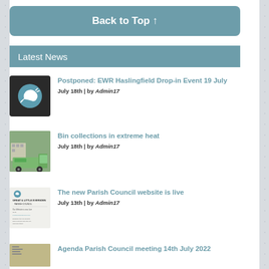Back to Top ↑
Latest News
Postponed: EWR Haslingfield Drop-in Event 19 July
July 18th | by Admin17
Bin collections in extreme heat
July 18th | by Admin17
The new Parish Council website is live
July 13th | by Admin17
Agenda Parish Council meeting 14th July 2022